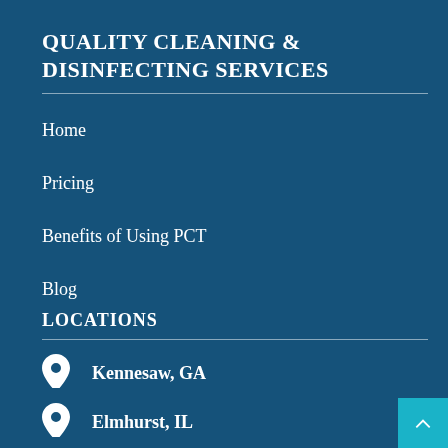QUALITY CLEANING & DISINFECTING SERVICES
Home
Pricing
Benefits of Using PCT
Blog
LOCATIONS
Kennesaw, GA
Elmhurst, IL